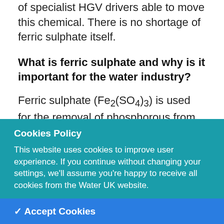of specialist HGV drivers able to move this chemical. There is no shortage of ferric sulphate itself.
What is ferric sulphate and why is it important for the water industry?
Ferric sulphate (Fe2(SO4)3) is used for the removal of phosphorous from wastewater. It is a brown-yellow liquid that is soluble in water
Cookies Policy
This website uses cookies to improve user experience. If you continue without changing your settings, we'll assume you're happy to receive all cookies from the Water UK website.
✓ Accept Cookies